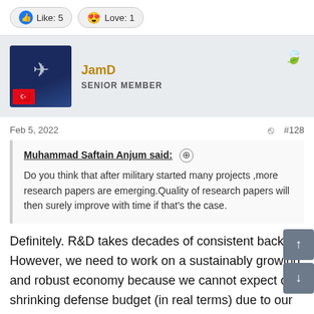Like: 5   Love: 1
JamD
SENIOR MEMBER
Feb 5, 2022   #128
Muhammad Saftain Anjum said:
Do you think that after military started many projects ,more research papers are emerging.Quality of research papers will then surely improve with time if that's the case.
Definitely. R&D takes decades of consistent backing. However, we need to work on a sustainably growing and robust economy because we cannot expect our shrinking defense budget (in real terms) due to our shrinking economy to fund R&D.